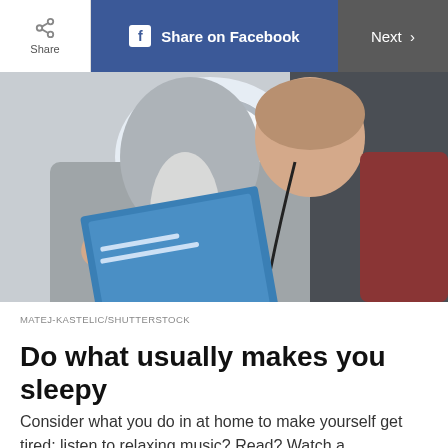Share | Share on Facebook | Next >
[Figure (photo): Woman sitting in airplane seat with earphones, reading a magazine or document, with an airplane window behind her showing sky light.]
MATEJ-KASTELIC/SHUTTERSTOCK
Do what usually makes you sleepy
Consider what you do in at home to make yourself get tired: listen to relaxing music? Read? Watch a